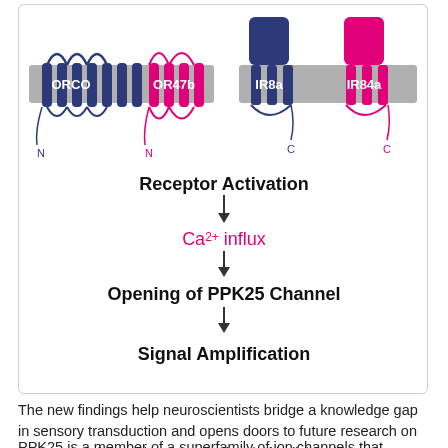[Figure (schematic): Flowchart diagram showing receptor activation pathway. Top: illustrations of ORCO (dark blue) and OR47b (magenta) transmembrane receptors on left, and IR8a (dark blue) and IR84a (magenta) ionotropic receptors on right, embedded in a gray membrane. Below: flowchart with steps: Receptor Activation → Ca2+ influx → Opening of PPK25 Channel → Signal Amplification]
The new findings help neuroscientists bridge a knowledge gap in sensory transduction and opens doors to future research on the impact of sexual cues at the level of individual neurons.
PPK25 is a member of a superfamily of ion channels that